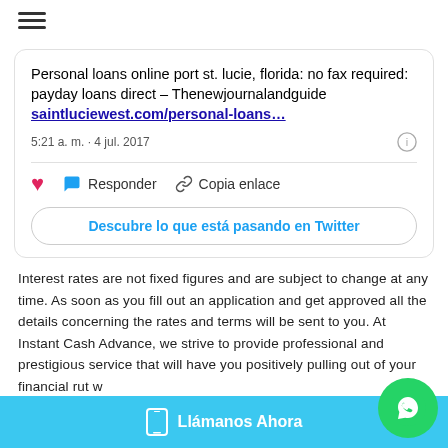≡
[Figure (screenshot): Twitter/social media card embed showing: 'Personal loans online port st. lucie, florida: no fax required: payday loans direct – Thenewjournalandguide saintluciewest.com/personal-loans… 5:21 a. m. · 4 jul. 2017' with action buttons (heart, Responder, Copia enlace) and a 'Descubre lo que está pasando en Twitter' button]
Interest rates are not fixed figures and are subject to change at any time. As soon as you fill out an application and get approved all the details concerning the rates and terms will be sent to you. At Instant Cash Advance, we strive to provide professional and prestigious service that will have you positively pulling out of your financial rut w
Llámanos Ahora